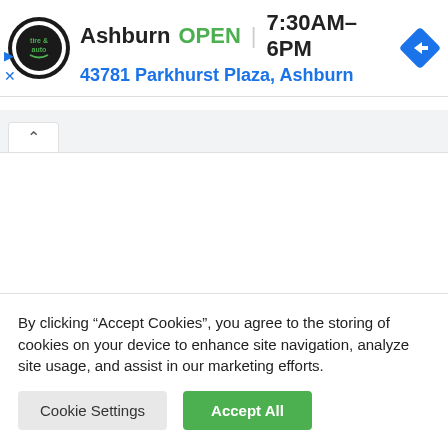[Figure (infographic): Advertisement banner for Virginia Tire & Auto showing the Ashburn location with logo, open status, hours, address, and navigation icon]
[Figure (screenshot): Browser tab bar showing a single tab with an up-caret (collapse) button]
By clicking “Accept Cookies”, you agree to the storing of cookies on your device to enhance site navigation, analyze site usage, and assist in our marketing efforts.
Cookie Settings | Accept All